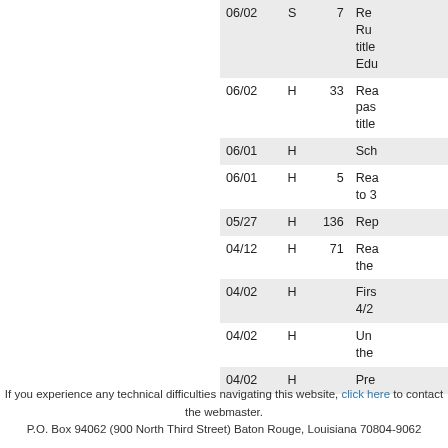| Date | Type | Num | Description |
| --- | --- | --- | --- |
| 06/02 | S | 7 | Re… Ru… title… Edu… |
| 06/02 | H | 33 | Rea… pas… title… |
| 06/01 | H |  | Sch… |
| 06/01 | H | 5 | Rea… to 3… |
| 05/27 | H | 136 | Rep… |
| 04/12 | H | 71 | Rea… the… |
| 04/02 | H |  | Firs… 4/2… |
| 04/02 | H |  | Un… the… |
| 04/02 | H |  | Pre… |
If you experience any technical difficulties navigating this website, click here to contact the webmaster.
P.O. Box 94062 (900 North Third Street) Baton Rouge, Louisiana 70804-9062